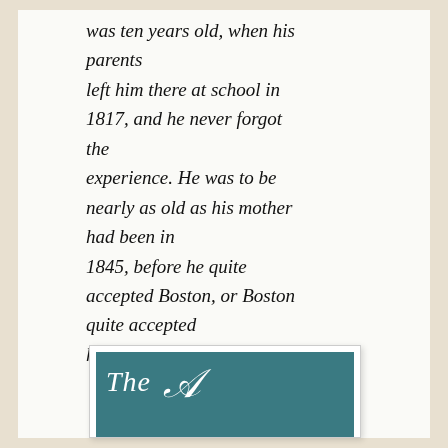was ten years old, when his parents left him there at school in 1817, and he never forgot the experience. He was to be nearly as old as his mother had been in 1845, before he quite accepted Boston, or Boston quite accepted him.
[Figure (photo): Teal/blue-green book cover with decorative white script showing 'The A' (partial view of a book cover)]